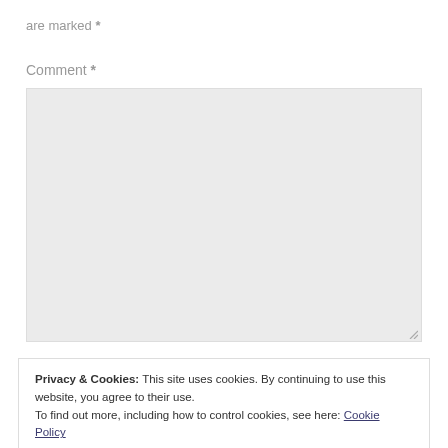are marked *
Comment *
[Figure (other): Empty textarea input box for comment submission]
Privacy & Cookies: This site uses cookies. By continuing to use this website, you agree to their use.
To find out more, including how to control cookies, see here: Cookie Policy
Close and accept